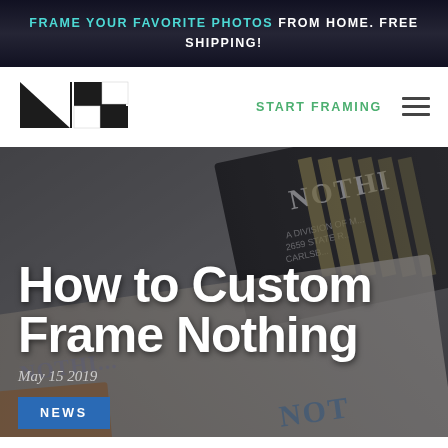FRAME YOUR FAVORITE PHOTOS FROM HOME. FREE SHIPPING!
[Figure (logo): Custom framing company logo with geometric black and white grid squares]
START FRAMING
[Figure (photo): Background photo showing framing/construction documents or materials with 'NOTHING' text visible, overlaid with hero text]
How to Custom Frame Nothing
May 15 2019
NEWS